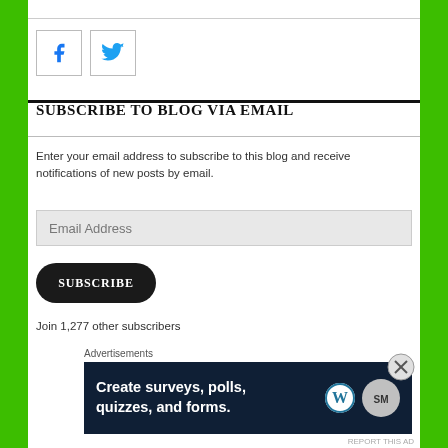[Figure (other): Social media icon buttons: Facebook (f) and Twitter (bird) in bordered square boxes]
SUBSCRIBE TO BLOG VIA EMAIL
Enter your email address to subscribe to this blog and receive notifications of new posts by email.
Email Address
SUBSCRIBE
Join 1,277 other subscribers
Advertisements
[Figure (other): Advertisement banner: dark navy background with text 'Create surveys, polls, quizzes, and forms.' with WordPress and SurveyMonkey logos]